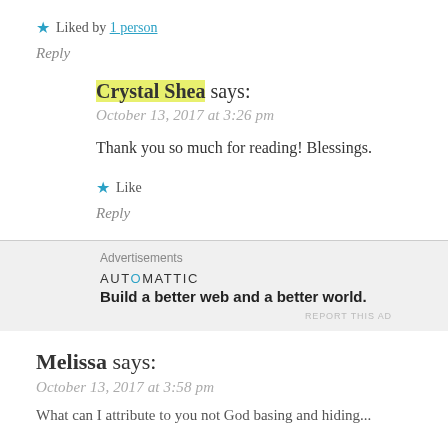★ Liked by 1 person
Reply
Crystal Shea says:
October 13, 2017 at 3:26 pm
Thank you so much for reading! Blessings.
★ Like
Reply
Advertisements
AUTOMATTIC
Build a better web and a better world.
REPORT THIS AD
Melissa says:
October 13, 2017 at 3:58 pm
What can I attribute to you not God basing and hiding...